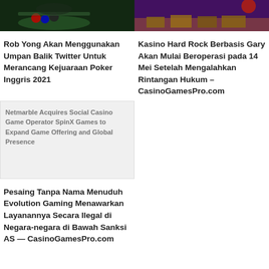[Figure (photo): Poker player at a table with chips, dark green background]
[Figure (photo): Casino interior with gaming tables and decorative lighting]
Rob Yong Akan Menggunakan Umpan Balik Twitter Untuk Merancang Kejuaraan Poker Inggris 2021
Kasino Hard Rock Berbasis Gary Akan Mulai Beroperasi pada 14 Mei Setelah Mengalahkan Rintangan Hukum – CasinoGamesPro.com
[Figure (illustration): Broken image placeholder for Netmarble Acquires Social Casino Game Operator SpinX Games to Expand Game Offering and Global Presence]
Pesaing Tanpa Nama Menuduh Evolution Gaming Menawarkan Layanannya Secara Ilegal di Negara-negara di Bawah Sanksi AS — CasinoGamesPro.com